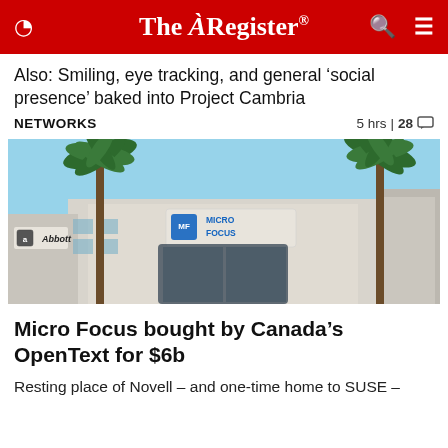The Register
Also: Smiling, eye tracking, and general 'social presence' baked into Project Cambria
NETWORKS   5 hrs | 28
[Figure (photo): Exterior of Micro Focus building with palm trees, and Abbott signage visible on the left. Micro Focus logo displayed prominently on the building facade under a blue sky.]
Micro Focus bought by Canada's OpenText for $6b
Resting place of Novell – and one-time home to SUSE –